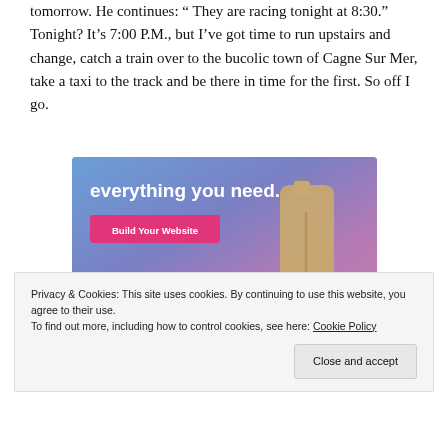tomorrow. He continues: " They are racing tonight at 8:30." Tonight? It's 7:00 P.M., but I've got time to run upstairs and change, catch a train over to the bucolic town of Cagne Sur Mer, take a taxi to the track and be there in time for the first. So off I go.
[Figure (screenshot): Advertisement banner with gradient blue-purple background, text 'everything you need.', a pink 'Build Your Website' button, and a tan price tag graphic on the right.]
Privacy & Cookies: This site uses cookies. By continuing to use this website, you agree to their use.
To find out more, including how to control cookies, see here: Cookie Policy
Close and accept